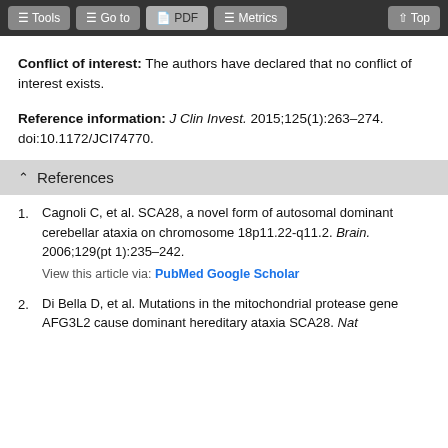Tools  Go to  PDF  Metrics  Top
Conflict of interest: The authors have declared that no conflict of interest exists.
Reference information: J Clin Invest. 2015;125(1):263–274. doi:10.1172/JCI74770.
References
Cagnoli C, et al. SCA28, a novel form of autosomal dominant cerebellar ataxia on chromosome 18p11.22-q11.2. Brain. 2006;129(pt 1):235–242. View this article via: PubMed Google Scholar
Di Bella D, et al. Mutations in the mitochondrial protease gene AFG3L2 cause dominant hereditary ataxia SCA28. Nat